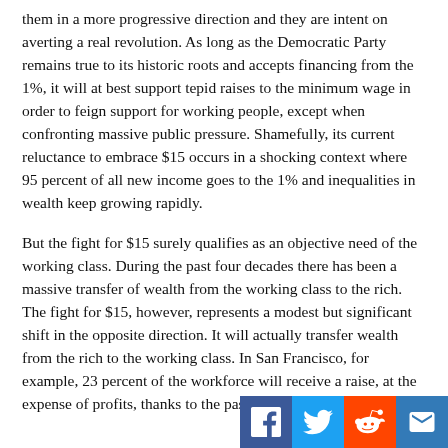them in a more progressive direction and they are intent on averting a real revolution. As long as the Democratic Party remains true to its historic roots and accepts financing from the 1%, it will at best support tepid raises to the minimum wage in order to feign support for working people, except when confronting massive public pressure. Shamefully, its current reluctance to embrace $15 occurs in a shocking context where 95 percent of all new income goes to the 1% and inequalities in wealth keep growing rapidly.
But the fight for $15 surely qualifies as an objective need of the working class. During the past four decades there has been a massive transfer of wealth from the working class to the rich. The fight for $15, however, represents a modest but significant shift in the opposite direction. It will actually transfer wealth from the rich to the working class. In San Francisco, for example, 23 percent of the workforce will receive a raise, at the expense of profits, thanks to the passage
[Figure (other): Social media sharing icons: Facebook (blue), Twitter (blue), Reddit (orange-red), Email (blue)]